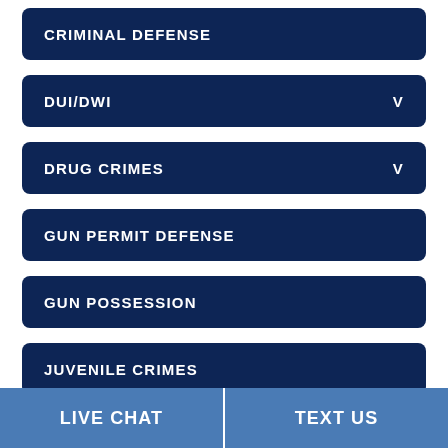CRIMINAL DEFENSE
DUI/DWI
DRUG CRIMES
GUN PERMIT DEFENSE
GUN POSSESSION
JUVENILE CRIMES
LARCENY
LIVE CHAT   TEXT US